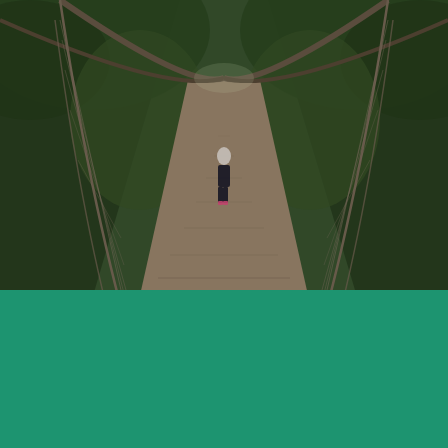[Figure (photo): A woman walks across a wooden rope suspension bridge surrounded by dense green forest. The bridge recedes dramatically into the distance with rope netting on both sides. The perspective is from behind looking toward the vanishing point at treetops.]
Woman Walks Bridge
[Figure (logo): Shopify logo: white shopping bag icon with 'S' and the word 'shopify' in white italic text]
Need an online store for your business?
Start free trial